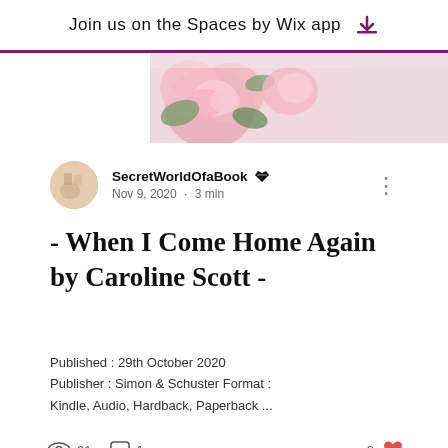Join us on the Spaces by Wix app
[Figure (photo): Photo of pink roses with green leaves on a light background, partially visible at the top of the page]
SecretWorldOfaBook [admin badge]  Nov 9, 2020  •  3 min
- When I Come Home Again by Caroline Scott -
Published : 29th October 2020 Publisher : Simon & Schuster Format : Kindle, Audio, Hardback, Paperback ...
👁 21   💬 1   2 ♥
[Figure (photo): Photo with soft white/grey fabric or paper texture, partially visible at the bottom of the page, with a chat bubble button overlay]